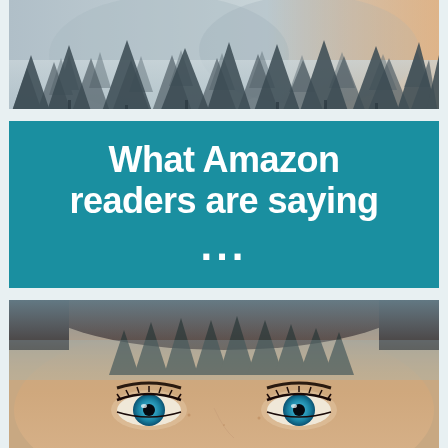[Figure (illustration): Wide banner image of misty pine/fir forest trees against a pale foggy mountain background with warm light on right side]
What Amazon readers are saying ...
[Figure (illustration): Close-up double-exposure photograph of a woman's face with blue eyes, overlaid with a misty pine forest scene reflected in her forehead/hair area]